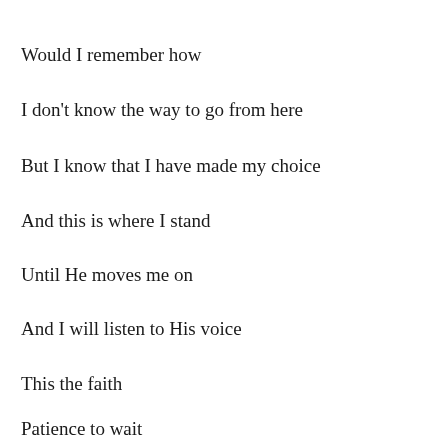Would I remember how
I don't know the way to go from here
But I know that I have made my choice
And this is where I stand
Until He moves me on
And I will listen to His voice
This the faith
Patience to wait